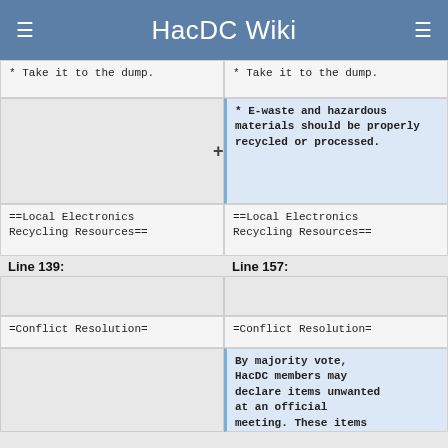HacDC Wiki
* Take it to the dump.
* Take it to the dump.
* E-waste and hazardous materials should be properly recycled or processed.
==Local Electronics Recycling Resources==
==Local Electronics Recycling Resources==
Line 139:
Line 157:
=Conflict Resolution=
=Conflict Resolution=
By majority vote, HacDC members may declare items unwanted at an official meeting. These items